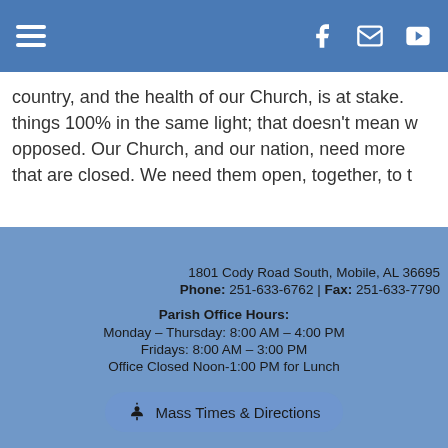Navigation bar with hamburger menu and social icons (Facebook, Email, YouTube)
country, and the health of our Church, is at stake. things 100% in the same light; that doesn't mean w opposed. Our Church, and our nation, need more that are closed. We need them open, together, to t
1801 Cody Road South, Mobile, AL 36695 | Phone: 251-633-6762 | Fax: 251-633-7790 | Parish Office Hours: Monday – Thursday: 8:00 AM – 4:00 PM | Fridays: 8:00 AM – 3:00 PM | Office Closed Noon-1:00 PM for Lunch
Mass Times & Directions